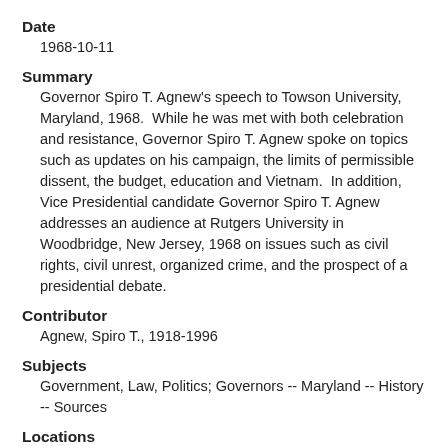Date
1968-10-11
Summary
Governor Spiro T. Agnew's speech to Towson University, Maryland, 1968.  While he was met with both celebration and resistance, Governor Spiro T. Agnew spoke on topics such as updates on his campaign, the limits of permissible dissent, the budget, education and Vietnam.  In addition, Vice Presidential candidate Governor Spiro T. Agnew addresses an audience at Rutgers University in Woodbridge, New Jersey, 1968 on issues such as civil rights, civil unrest, organized crime, and the prospect of a presidential debate.
Contributor
Agnew, Spiro T., 1918-1996
Subjects
Government, Law, Politics; Governors -- Maryland -- History -- Sources
Locations
North America; United States; Maryland
Collection